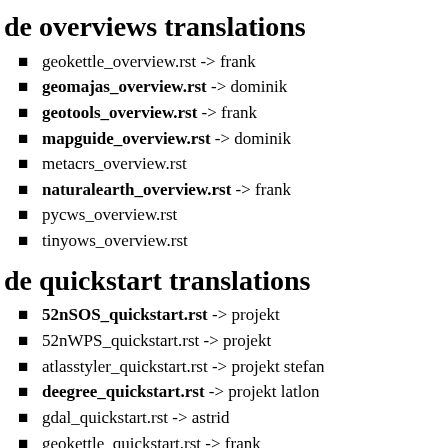de overviews translations
geokettle_overview.rst -> frank
geomajas_overview.rst -> dominik
geotools_overview.rst -> frank
mapguide_overview.rst -> dominik
metacrs_overview.rst
naturalearth_overview.rst -> frank
pycws_overview.rst
tinyows_overview.rst
de quickstart translations
52nSOS_quickstart.rst -> projekt
52nWPS_quickstart.rst -> projekt
atlasstyler_quickstart.rst -> projekt stefan
deegree_quickstart.rst -> projekt latlon
gdal_quickstart.rst -> astrid
geokettle_quickstart.rst -> frank
geomajas_quickstart.rst -> dominik
geonetwork_quickstart.rst -> david
geopublisher_quickstart.rst -> projekt stefan
geoserver_quickstart.rst -> frank